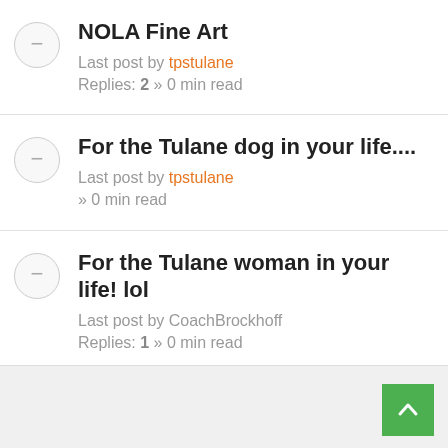NOLA Fine Art
Last post by tpstulane
Replies: 2 » 0 min read
For the Tulane dog in your life....
Last post by tpstulane
 » 0 min read
For the Tulane woman in your life! lol
Last post by CoachBrockhoff
Replies: 1 » 0 min read